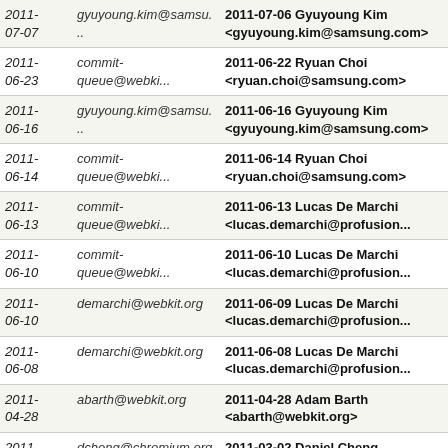| 2011-07-07 | gyuyoung.kim@samsu... | 2011-07-06 Gyuyoung Kim <gyuyoung.kim@samsung.com> |
| 2011-06-23 | commit-queue@webki... | 2011-06-22 Ryuan Choi <ryuan.choi@samsung.com> |
| 2011-06-16 | gyuyoung.kim@samsu... | 2011-06-16 Gyuyoung Kim <gyuyoung.kim@samsung.com> |
| 2011-06-14 | commit-queue@webki... | 2011-06-14 Ryuan Choi <ryuan.choi@samsung.com> |
| 2011-06-13 | commit-queue@webki... | 2011-06-13 Lucas De Marchi <lucas.demarchi@profusion... |
| 2011-06-10 | commit-queue@webki... | 2011-06-10 Lucas De Marchi <lucas.demarchi@profusion... |
| 2011-06-10 | demarchi@webkit.org | 2011-06-09 Lucas De Marchi <lucas.demarchi@profusion... |
| 2011-06-08 | demarchi@webkit.org | 2011-06-08 Lucas De Marchi <lucas.demarchi@profusion... |
| 2011-04-28 | abarth@webkit.org | 2011-04-28 Adam Barth <abarth@webkit.org> |
| 2011-03-02 | dcheng@chromium.org | 2011-03-02 Daniel Cheng <dcheng@chromium.org> |
| 2011- | rniwa@webkit.org | 2011-03-01 Sheriff Bot |